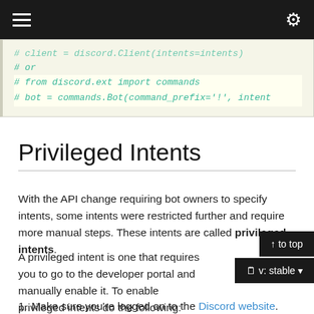≡  ⚙
[Figure (screenshot): Code block showing commented-out Python code for discord bot setup with imports and client/bot initialization lines in green italic monospace font on light yellow background]
Privileged Intents
With the API change requiring bot owners to specify intents, some intents were restricted further and require more manual steps. These intents are called privileged intents.
A privileged intent is one that requires you to go to the developer portal and manually enable it. To enable privileged intents do the following:
1. Make sure you're logged on to the Discord website.